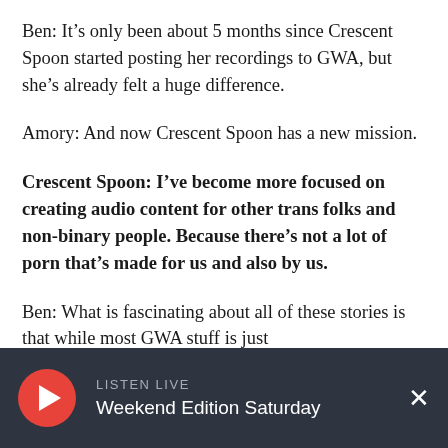Ben: It's only been about 5 months since Crescent Spoon started posting her recordings to GWA, but she's already felt a huge difference.
Amory: And now Crescent Spoon has a new mission.
Crescent Spoon: I've become more focused on creating audio content for other trans folks and non-binary people. Because there's not a lot of porn that's made for us and also by us.
Ben: What is fascinating about all of these stories is that while most GWA stuff is just
[Figure (other): Audio player bar at bottom with red circular play button, LISTEN LIVE label, and Weekend Edition Saturday text on dark background with X close button]